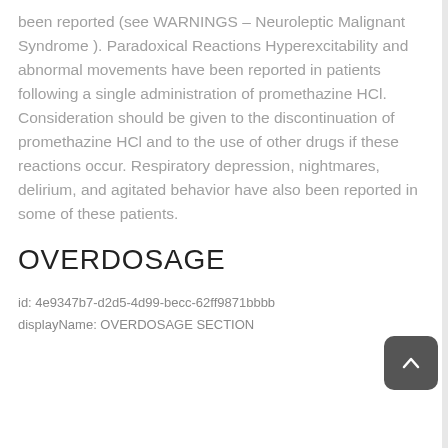been reported (see WARNINGS – Neuroleptic Malignant Syndrome ). Paradoxical Reactions Hyperexcitability and abnormal movements have been reported in patients following a single administration of promethazine HCl. Consideration should be given to the discontinuation of promethazine HCl and to the use of other drugs if these reactions occur. Respiratory depression, nightmares, delirium, and agitated behavior have also been reported in some of these patients.
OVERDOSAGE
id: 4e9347b7-d2d5-4d99-becc-62ff9871bbbb
displayName: OVERDOSAGE SECTION